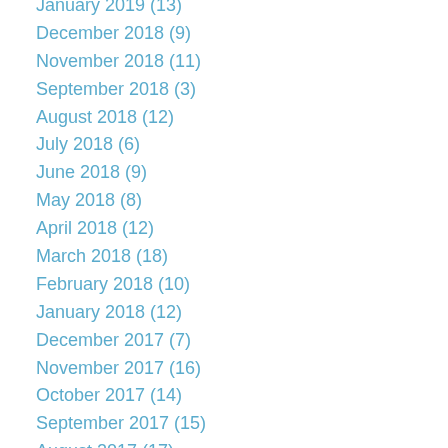January 2019 (13)
December 2018 (9)
November 2018 (11)
September 2018 (3)
August 2018 (12)
July 2018 (6)
June 2018 (9)
May 2018 (8)
April 2018 (12)
March 2018 (18)
February 2018 (10)
January 2018 (12)
December 2017 (7)
November 2017 (16)
October 2017 (14)
September 2017 (15)
August 2017 (17)
July 2017 (14)
June 2017 (15)
May 2017 (5)